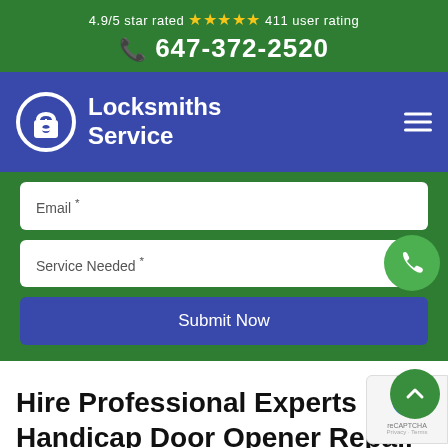4.9/5 star rated ★★★★★ 411 user rating
☎ 647-372-2520
[Figure (logo): Locksmiths Service logo with padlock icon]
Email *
Service Needed *
Submit Now
Hire Professional Experts For Handicap Door Opener Repair in